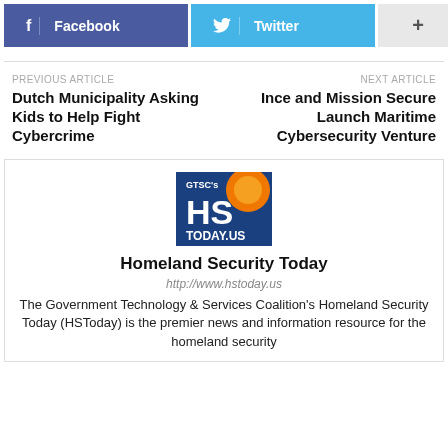[Figure (infographic): Social share buttons: Facebook (blue-purple), Twitter (light blue), and a plus/more button (gray)]
PREVIOUS ARTICLE
Dutch Municipality Asking Kids to Help Fight Cybercrime
NEXT ARTICLE
Ince and Mission Secure Launch Maritime Cybersecurity Venture
[Figure (logo): GTSC's HS TODAY.US logo — blue square with orange sun graphic and white text]
Homeland Security Today
http://www.hstoday.us
The Government Technology & Services Coalition's Homeland Security Today (HSToday) is the premier news and information resource for the homeland security